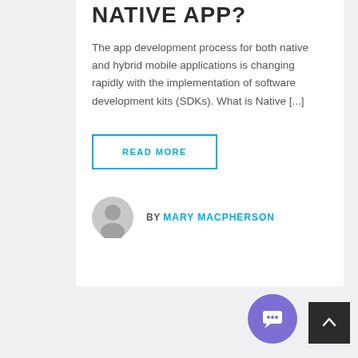NATIVE APP?
The app development process for both native and hybrid mobile applications is changing rapidly with the implementation of software development kits (SDKs). What is Native [...]
READ MORE
BY MARY MACPHERSON